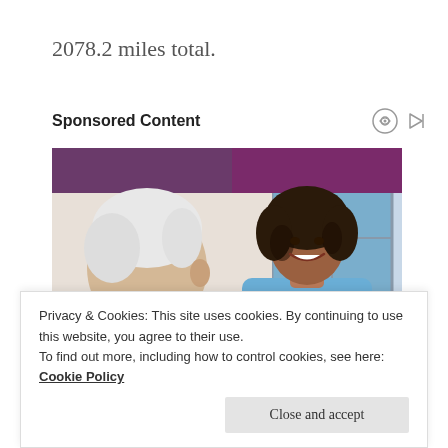2078.2 miles total.
Sponsored Content
[Figure (photo): A smiling female nurse in blue scrubs with a stethoscope talking with an elderly white-haired male patient, in a bright room with a purple curtain and window in the background.]
Privacy & Cookies: This site uses cookies. By continuing to use this website, you agree to their use.
To find out more, including how to control cookies, see here: Cookie Policy
Close and accept